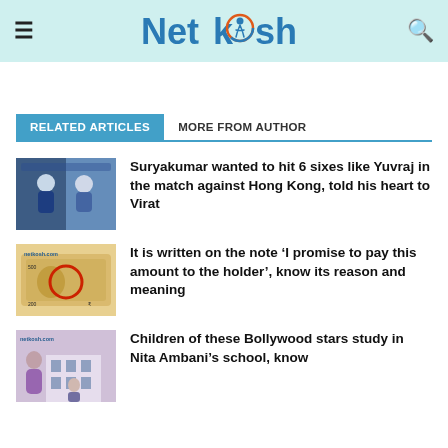Netkosh
RELATED ARTICLES | MORE FROM AUTHOR
Suryakumar wanted to hit 6 sixes like Yuvraj in the match against Hong Kong, told his heart to Virat
It is written on the note ‘I promise to pay this amount to the holder’, know its reason and meaning
Children of these Bollywood stars study in Nita Ambani’s school, know